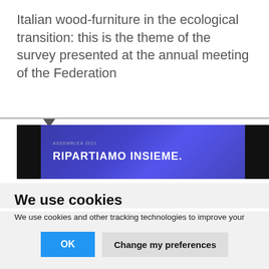Italian wood-furniture in the ecological transition: this is the theme of the survey presented at the annual meeting of the Federation
[Figure (photo): Photo of a presentation slide on a dark stage background showing 'ASSEMBLEA 2021' and 'RIPARTIAMO INSIEME.' text on a blue gradient background]
We use cookies
We use cookies and other tracking technologies to improve your browsing experience on our website, to show you personalized content and targeted ads, to analyze our website traffic, and to understand where our visitors are coming from.